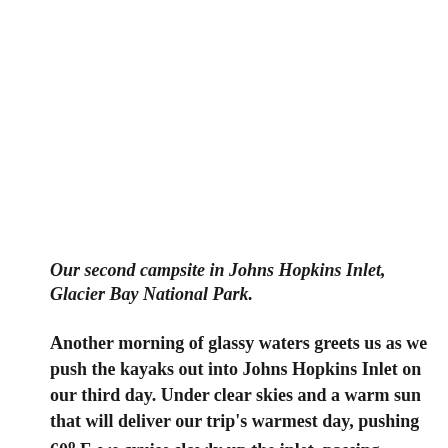Our second campsite in Johns Hopkins Inlet, Glacier Bay National Park.
Another morning of glassy waters greets us as we push the kayaks out into Johns Hopkins Inlet on our third day. Under clear skies and a warm sun that will deliver our trip's warmest day, pushing 60° F, we cruise slowly up the inlet, passing icebergs ranging from truck-